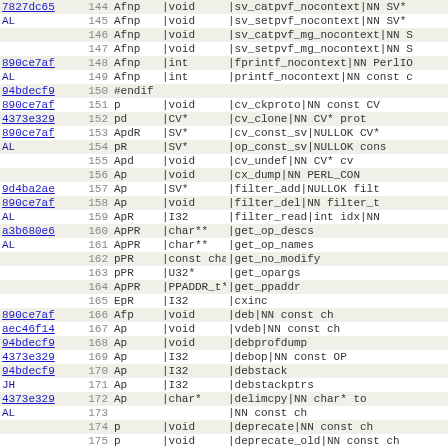| hash | num | flag | return | name/args |
| --- | --- | --- | --- | --- |
| 7827dc65 | 144 | Afnp | |void | |sv_catpvf_nocontext|NN SV* |
| AL | 145 | Afnp | |void | |sv_setpvf_nocontext|NN SV* |
|  | 146 | Afnp | |void | |sv_catpvf_mg_nocontext|NN S |
|  | 147 | Afnp | |void | |sv_setpvf_mg_nocontext|NN S |
| 890ce7af | 148 | Afnp | |int | |fprintf_nocontext|NN PerlIO |
| AL | 149 | Afnp | |int | |printf_nocontext|NN const c |
| 94bdecf9 | 150 | #endif |  |  |
| 890ce7af | 151 | p | |void | |cv_ckproto|NN const CV |
| 4373e329 | 152 | pd | |CV* | |cv_clone|NN CV* prot |
| 890ce7af | 153 | ApdR | |SV* | |cv_const_sv|NULLOK CV* |
| AL | 154 | pR | |SV* | |op_const_sv|NULLOK cons |
|  | 155 | Apd | |void | |cv_undef|NN CV* cv |
|  | 156 | Ap | |void | |cx_dump|NN PERL_CON |
| 9d4ba2ae | 157 | Ap | |SV* | |filter_add|NULLOK filt |
| 890ce7af | 158 | Ap | |void | |filter_del|NN filter_t |
| AL | 159 | ApR | |I32 | |filter_read|int idx|NN |
| a3b680e6 | 160 | ApPR | |char** | |get_op_descs |
| AL | 161 | ApPR | |char** | |get_op_names |
|  | 162 | pPR | |const char* | |get_no_modify |
|  | 163 | pPR | |U32* | |get_opargs |
|  | 164 | ApPR | |PPADDR_t* | |get_ppaddr |
|  | 165 | EpR | |I32 | |cxinc |
| 890ce7af | 166 | Afp | |void | |deb|NN const ch |
| aec46f14 | 167 | Ap | |void | |vdeb|NN const ch |
| 94bdecf9 | 168 | Ap | |void | |debprofdump |
| 4373e329 | 169 | Ap | |I32 | |debop|NN const OP |
| 94bdecf9 | 170 | Ap | |I32 | |debstack |
| JH | 171 | Ap | |I32 | |debstackptrs |
| 4373e329 | 172 | Ap | |char* | |delimcpy|NN char* to |
| AL | 173 |  |  | ||NN const ch |
|  | 174 | p | |void | |deprecate|NN const ch |
|  | 175 | p | |void | |deprecate_old|NN const ch |